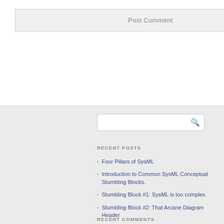Post Comment
RECENT POSTS
Four Pillars of SysML
Introduction to Common SysML Conceptual Stumbling Blocks.
Stumbling Block #1: SysML is too complex.
Stumbling Block #2: That Arcane Diagram Header
Stumbling Block #3: Why do I need both bdds and ibds?
RECENT COMMENTS